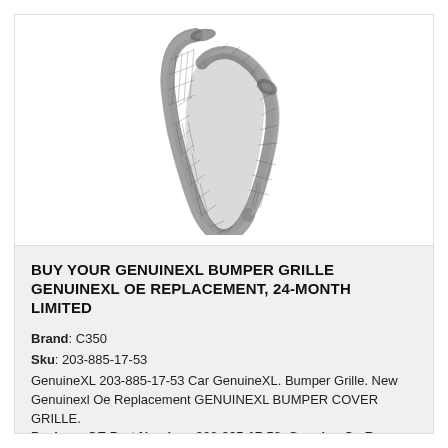[Figure (photo): Product photo of a GenuineXL bumper grille mesh part, U-shaped metal mesh grille component shown on white background]
BUY YOUR GENUINEXL BUMPER GRILLE GENUINEXL OE REPLACEMENT, 24-MONTH LIMITED
Brand: C350
Sku: 203-885-17-53
GenuineXL 203-885-17-53 Car GenuineXL. Bumper Grille. New Genuinexl Oe Replacement GENUINEXL BUMPER COVER GRILLE. Package OE Part Number: 203-885-17-53. Genuine Oe R...